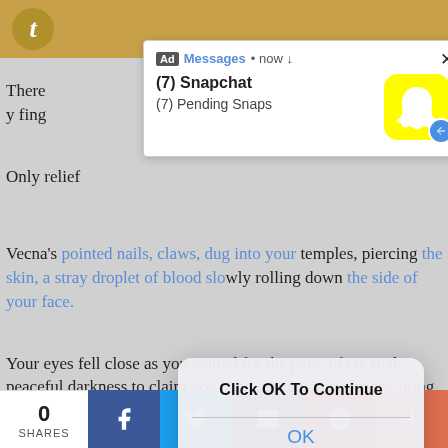[Figure (screenshot): Tumblr top navigation bar with orange/gold background and Tumblr 't' icon]
There [text partially hidden] y fing
Only relief
[Figure (screenshot): Snapchat advertisement notification popup with yellow Snapchat ghost icon showing '(7) Snapchat' and '(7) Pending Snaps', with a close X button]
Vecna's pointed nails, claws, dug into your temples, piercing the skin, a stray droplet of blood slowly rolling down the side of your face.
[Figure (screenshot): iOS-style dialog popup with bold text 'Click OK To Continue' and a blue 'OK' button]
Your eyes fell close as you waited for the pain, of eternal, peaceful darkness to claim you. And maybe, just maybe, bring you wherever Eddie had gone.
A sound floated through the air
[Figure (screenshot): Social sharing bar at bottom with share count '0 SHARES', Facebook, Twitter, Email, Pinterest, and More buttons]